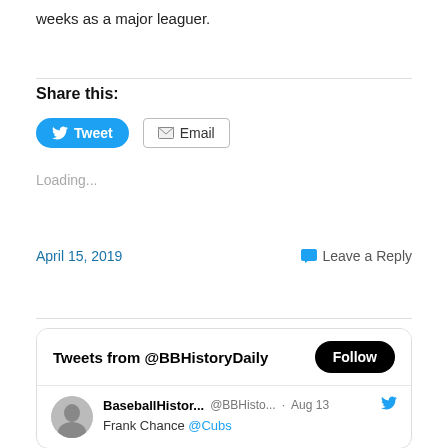weeks as a major leaguer.
Share this:
Loading...
April 15, 2019
Leave a Reply
Tweets from @BBHistoryDaily
BaseballHistor... @BBHisto... · Aug 13   Frank Chance @Cubs